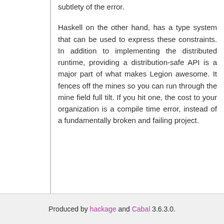subtlety of the error.
Haskell on the other hand, has a type system that can be used to express these constraints. In addition to implementing the distributed runtime, providing a distribution-safe API is a major part of what makes Legion awesome. It fences off the mines so you can run through the mine field full tilt. If you hit one, the cost to your organization is a compile time error, instead of a fundamentally broken and failing project.
Produced by hackage and Cabal 3.6.3.0.